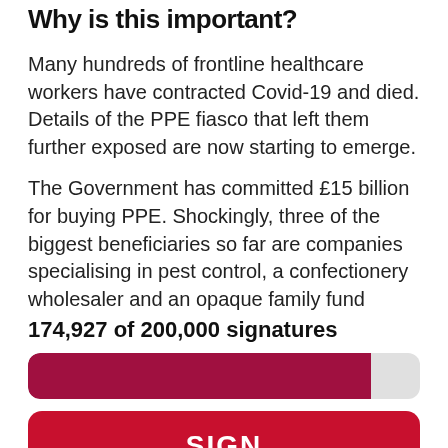Why is this important?
Many hundreds of frontline healthcare workers have contracted Covid-19 and died. Details of the PPE fiasco that left them further exposed are now starting to emerge.
The Government has committed £15 billion for buying PPE. Shockingly, three of the biggest beneficiaries so far are companies specialising in pest control, a confectionery wholesaler and an opaque family fund
174,927 of 200,000 signatures
[Figure (other): Progress bar showing 174,927 of 200,000 signatures, approximately 87.5% filled in dark red/maroon color on a light grey background track.]
SIGN